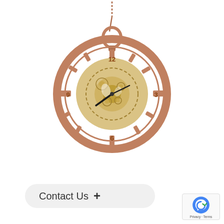[Figure (photo): A rose gold / copper-toned skeleton pocket watch with open-face mechanical movement showing brass gears, Roman numeral hour markers at 12, 3, 6, and 9, black hands, suspended on a matching chain with decorative bow and crown winding mechanism against a white background.]
Brass Wheel Pocket Watch
Contact Us +